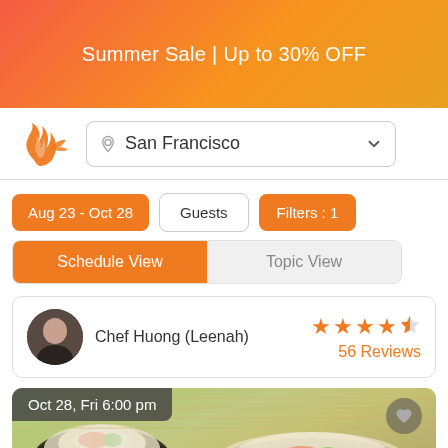Summer Sale | Up to 30% OFF
[Figure (logo): Cooking/food service app logo - orange flame/whisk icon]
San Francisco
Aug 23 - Oct 28
Guests
Filters : 1
Schedule View
Topic View
Chef Huong (Leenah)
56 Reviews
Oct 28, Fri 6:00 pm
[Figure (photo): Close-up photo of sushi rolls (maki) with seaweed wrap, rice, and fillings including salmon and cucumber]